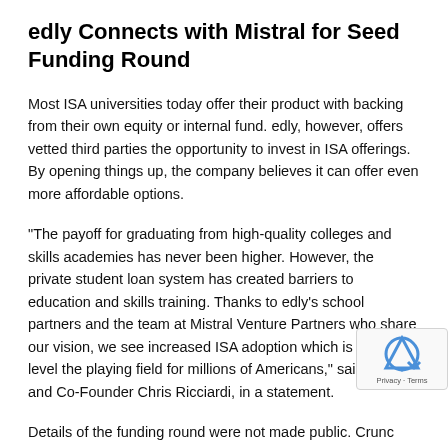edly Connects with Mistral for Seed Funding Round
Most ISA universities today offer their product with backing from their own equity or internal fund. edly, however, offers vetted third parties the opportunity to invest in ISA offerings. By opening things up, the company believes it can offer even more affordable options.
“The payoff for graduating from high-quality colleges and skills academies has never been higher. However, the private student loan system has created barriers to education and skills training. Thanks to edly’s school partners and the team at Mistral Venture Partners who share our vision, we see increased ISA adoption which is poised to level the playing field for millions of Americans,” said CEO and Co-Founder Chris Ricciardi, in a statement.
Details of the funding round were not made public. Crunc currently sets edly’s total venture capital raised at $1 million,